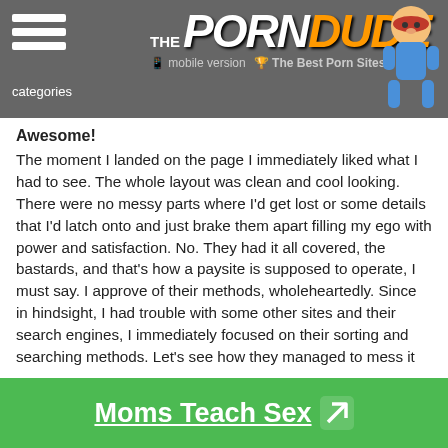THE PORN DUDE — The Best Porn Sites | mobile version | categories
Awesome!
The moment I landed on the page I immediately liked what I had to see. The whole layout was clean and cool looking. There were no messy parts where I'd get lost or some details that I'd latch onto and just brake them apart filling my ego with power and satisfaction. No. They had it all covered, the bastards, and that's how a paysite is supposed to operate, I must say. I approve of their methods, wholeheartedly. Since in hindsight, I had trouble with some other sites and their search engines, I immediately focused on their sorting and searching methods. Let's see how they managed to mess it up.
Here's the thing. Once I entered the keyword that I wanted to find, small boobs, I got a drop-down menu that gave me numerous options to select from. Now, you have to understand that it wasn't as if I entered the KW and hit Enter and I got videos to select from on a new page where they are laid out one next to
Moms Teach Sex